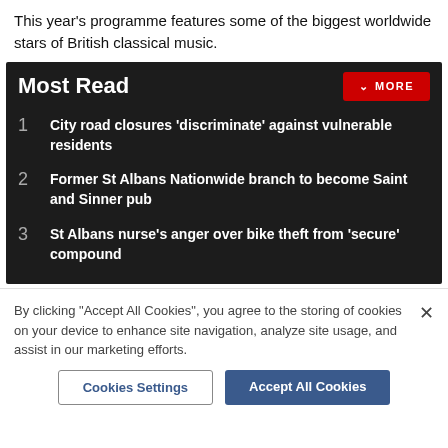This year's programme features some of the biggest worldwide stars of British classical music.
Most Read
City road closures 'discriminate' against vulnerable residents
Former St Albans Nationwide branch to become Saint and Sinner pub
St Albans nurse's anger over bike theft from 'secure' compound
By clicking "Accept All Cookies", you agree to the storing of cookies on your device to enhance site navigation, analyze site usage, and assist in our marketing efforts.